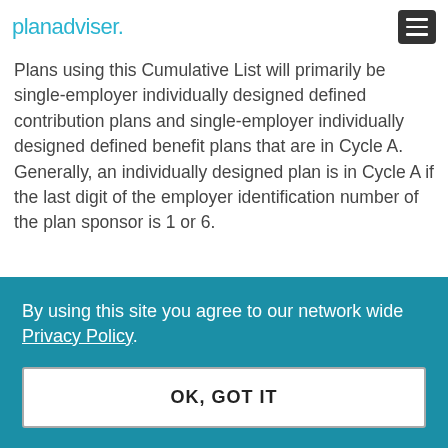planadviser.
Plans using this Cumulative List will primarily be single-employer individually designed defined contribution plans and single-employer individually designed defined benefit plans that are in Cycle A. Generally, an individually designed plan is in Cycle A if the last digit of the employer identification number of the plan sponsor is 1 or 6.
By using this site you agree to our network wide Privacy Policy.
OK, GOT IT